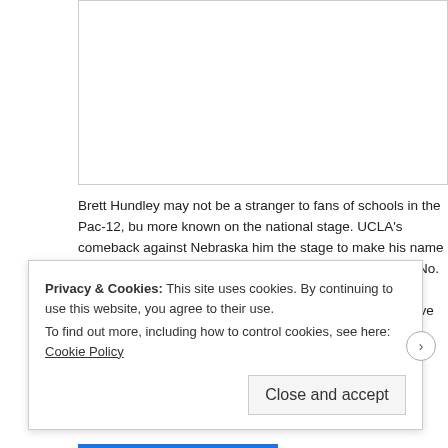[Figure (photo): Top image box, partially visible, clipped at top of page]
Brett Hundley may not be a stranger to fans of schools in the Pac-12, bu more known on the national stage. UCLA's comeback against Nebraska him the stage to make his name known. Hundley threw for 294 yards a has UCLA ranked No. 13 in the AP poll. Hundley has 124 yards rushing t touchdowns to go along with his 585 passing yards and five touchdown
[Figure (photo): Second image box with broken image icon, partially visible]
Privacy & Cookies: This site uses cookies. By continuing to use this website, you agree to their use.
To find out more, including how to control cookies, see here: Cookie Policy
Close and accept